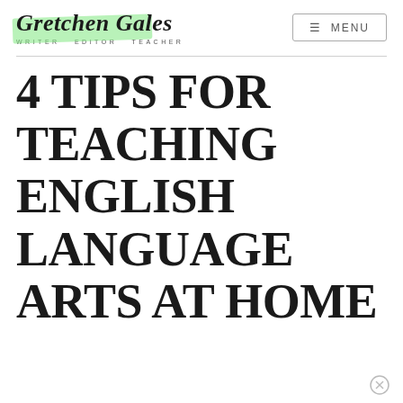Gretchen Gales · WRITER · EDITOR · TEACHER
4 TIPS FOR TEACHING ENGLISH LANGUAGE ARTS AT HOME